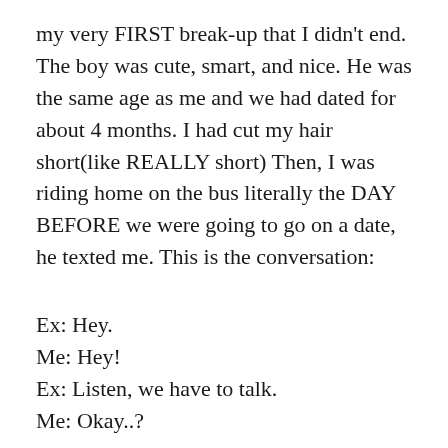my very FIRST break-up that I didn't end. The boy was cute, smart, and nice. He was the same age as me and we had dated for about 4 months. I had cut my hair short(like REALLY short) Then, I was riding home on the bus literally the DAY BEFORE we were going to go on a date, he texted me. This is the conversation:
Ex: Hey.
Me: Hey!
Ex: Listen, we have to talk.
Me: Okay..?
at this point, I was getting kinda nervous.
Ex: Just promise me that you won't be upset.
Me: Alright.. What's up
Ex: I also like someone else